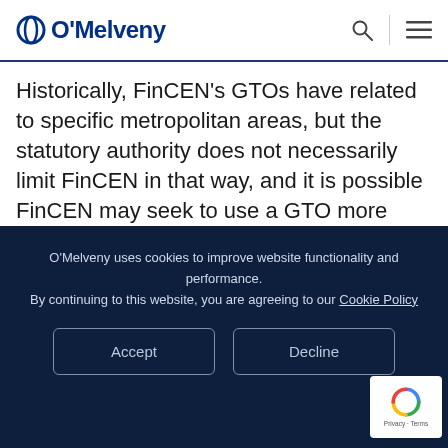O'Melveny
Historically, FinCEN's GTOs have related to specific metropolitan areas, but the statutory authority does not necessarily limit FinCEN in that way, and it is possible FinCEN may seek to use a GTO more broadly.
Potential Covered Entities: A GTO can impose
O'Melveny uses cookies to improve website functionality and performance. By continuing to this website, you are agreeing to our Cookie Policy
Accept
Decline